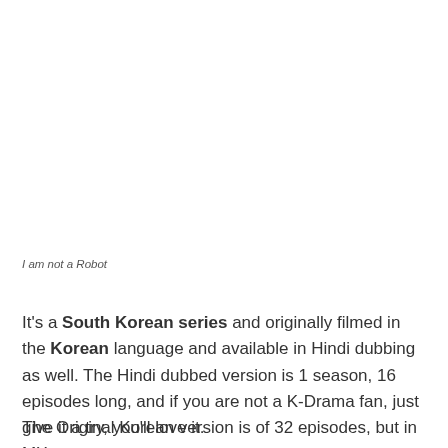I am not a Robot
It's a South Korean series and originally filmed in the Korean language and available in Hindi dubbing as well. The Hindi dubbed version is 1 season, 16 episodes long, and if you are not a K-Drama fan, just give it a try, you'll love it.
The Original Korean version is of 32 episodes, but in MX